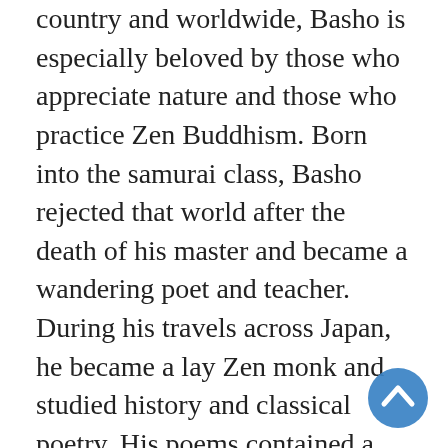country and worldwide, Basho is especially beloved by those who appreciate nature and those who practice Zen Buddhism. Born into the samurai class, Basho rejected that world after the death of his master and became a wandering poet and teacher. During his travels across Japan, he became a lay Zen monk and studied history and classical poetry. His poems contained a mystical quality and expressed universal themes through simple images from the natural world.
David Landis Barnhill's brilliant book strives for literal translations of Basho's work, arranged chronologically in order to show Basho's development as a writer. Avoiding wordy and explanatory translations, Barnhill captures th...